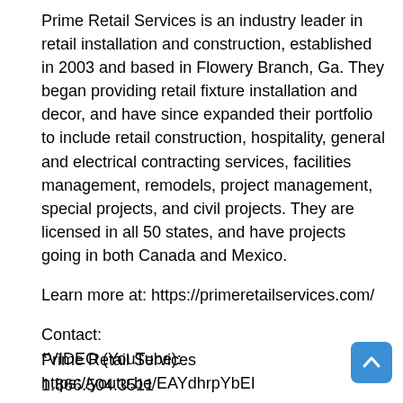Prime Retail Services is an industry leader in retail installation and construction, established in 2003 and based in Flowery Branch, Ga. They began providing retail fixture installation and decor, and have since expanded their portfolio to include retail construction, hospitality, general and electrical contracting services, facilities management, remodels, project management, special projects, and civil projects. They are licensed in all 50 states, and have projects going in both Canada and Mexico.
Learn more at: https://primeretailservices.com/
Contact:
Prime Retail Services
1.866.504.3511
info@primeretailservices.com
*LOGO link for media:
https://www.Send2Press.com/300dpi/19-0912s2p-primeretail-300dpi.jpg
*VIDEO (YouTube): https://youtu.be/EAYdhrpYbEI